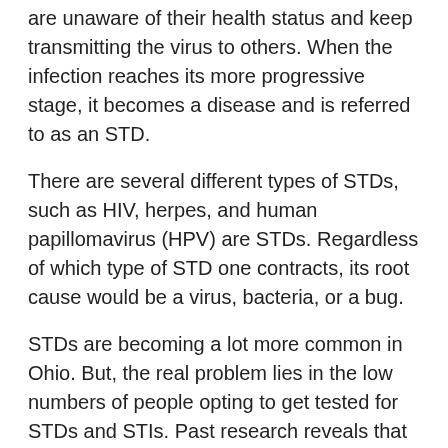are unaware of their health status and keep transmitting the virus to others. When the infection reaches its more progressive stage, it becomes a disease and is referred to as an STD.
There are several different types of STDs, such as HIV, herpes, and human papillomavirus (HPV) are STDs. Regardless of which type of STD one contracts, its root cause would be a virus, bacteria, or a bug.
STDs are becoming a lot more common in Ohio. But, the real problem lies in the low numbers of people opting to get tested for STDs and STIs. Past research reveals that people who contract the most common STDs are never diagnosed at the right time, so they pass the disease to their sexual partners unknowingly.
It might feel intimidating and scary to identify your